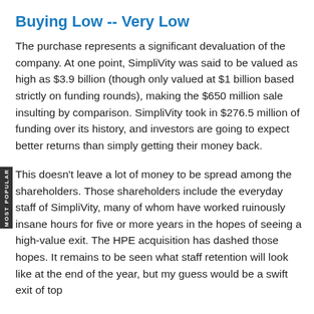Buying Low -- Very Low
The purchase represents a significant devaluation of the company. At one point, SimpliVity was said to be valued as high as $3.9 billion (though only valued at $1 billion based strictly on funding rounds), making the $650 million sale insulting by comparison. SimpliVity took in $276.5 million of funding over its history, and investors are going to expect better returns than simply getting their money back.
This doesn't leave a lot of money to be spread among the shareholders. Those shareholders include the everyday staff of SimpliVity, many of whom have worked ruinously insane hours for five or more years in the hopes of seeing a high-value exit. The HPE acquisition has dashed those hopes. It remains to be seen what staff retention will look like at the end of the year, but my guess would be a swift exit of top